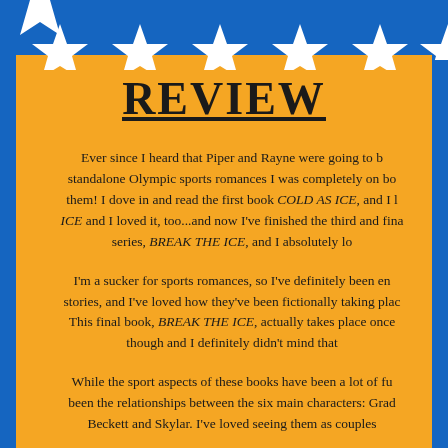[Figure (illustration): Blue top banner with white star shapes along the bottom edge, forming a decorative border]
REVIEW
Ever since I heard that Piper and Rayne were going to be standalone Olympic sports romances I was completely on board with them! I dove in and read the first book COLD AS ICE, and I loved it. Then I read THIN ICE and I loved it, too...and now I've finished the third and final book in the series, BREAK THE ICE, and I absolutely lo
I'm a sucker for sports romances, so I've definitely been enjoying these stories, and I've loved how they've been fictionally taking place at the Olympics. This final book, BREAK THE ICE, actually takes place once the Olympics are over though and I definitely didn't mind that
While the sport aspects of these books have been a lot of fun, what really been the relationships between the six main characters: Grady, Beckett and Skylar. I've loved seeing them as couples